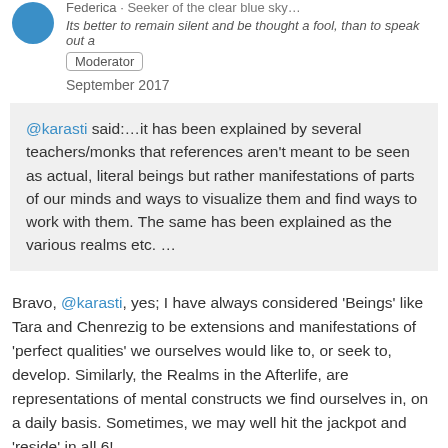Federica · Seeker of the clear blue sky...
Its better to remain silent and be thought a fool, than to speak out a
Moderator
September 2017
@karasti said:...it has been explained by several teachers/monks that references aren't meant to be seen as actual, literal beings but rather manifestations of parts of our minds and ways to visualize them and find ways to work with them. The same has been explained as the various realms etc. ...
Bravo, @karasti, yes; I have always considered 'Beings' like Tara and Chenrezig to be extensions and manifestations of 'perfect qualities' we ourselves would like to, or seek to, develop. Similarly, the Realms in the Afterlife, are representations of mental constructs we find ourselves in, on a daily basis. Sometimes, we may well hit the jackpot and 'reside' in all 6!
Hence the instructions of Watching the Mind.
At the moment of Death, what 'Frame of Mind' will YOU be in....?